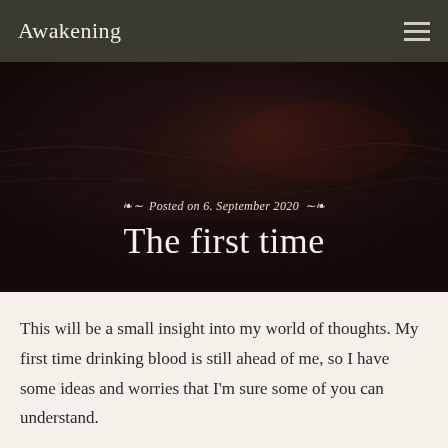Awakening
[Figure (photo): Dark moody photograph, likely dark liquid or water surface with reflections, used as hero/banner image background]
Posted on 6. September 2020
The first time
This will be a small insight into my world of thoughts. My first time drinking blood is still ahead of me, so I have some ideas and worries that I'm sure some of you can understand.